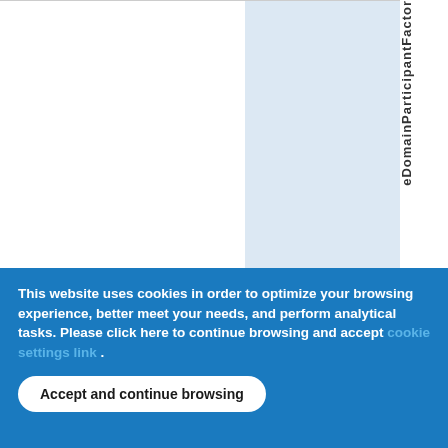[Figure (other): Partial webpage screenshot showing a table with a highlighted light-blue column and vertical text label 'eDomainParticipantFactor' on the right side, cut off at the top]
This website uses cookies in order to optimize your browsing experience, better meet your needs, and perform analytical tasks. Please click here to continue browsing and accept [cookie settings link] .
Accept and continue browsing